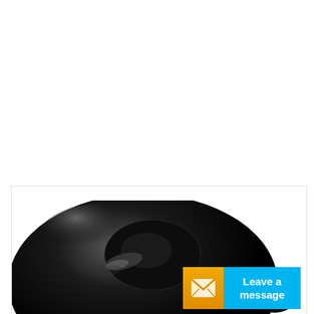[Figure (photo): Bottom portion of a shiny black object (appears to be a black glossy helmet or similar rounded black product) photographed against a white background. In the bottom-right corner, there is a 'Leave a message' button/banner consisting of an orange envelope icon box on the left and a cyan/blue rectangle on the right with white bold text reading 'Leave a message'.]